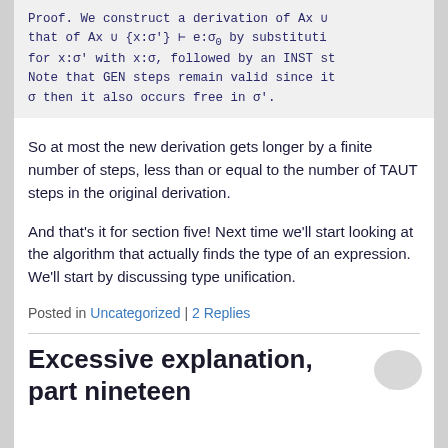Proof. We construct a derivation of Ax ∪ that of Ax ∪ {x:σ'} ⊢ e:σ₀ by substituti for x:σ' with x:σ, followed by an INST st Note that GEN steps remain valid since it σ then it also occurs free in σ'.
So at most the new derivation gets longer by a finite number of steps, less than or equal to the number of TAUT steps in the original derivation.
And that's it for section five! Next time we'll start looking at the algorithm that actually finds the type of an expression. We'll start by discussing type unification.
Posted in Uncategorized | 2 Replies
Excessive explanation, part nineteen